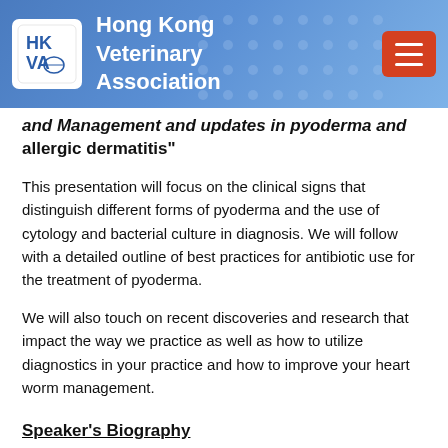Hong Kong Veterinary Association
and Management and updates in pyoderma and allergic dermatitis"
This presentation will focus on the clinical signs that distinguish different forms of pyoderma and the use of cytology and bacterial culture in diagnosis. We will follow with a detailed outline of best practices for antibiotic use for the treatment of pyoderma.
We will also touch on recent discoveries and research that impact the way we practice as well as how to utilize diagnostics in your practice and how to improve your heart worm management.
Speaker's Biography